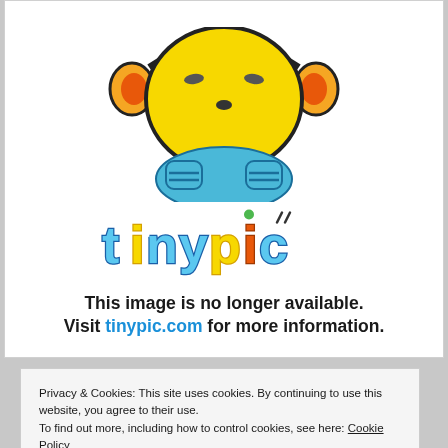[Figure (logo): Tinypic mascot (cartoon character with yellow head, orange ears, blue body) and 'tinypic' colorful logo text, with message 'This image is no longer available. Visit tinypic.com for more information.']
Privacy & Cookies: This site uses cookies. By continuing to use this website, you agree to their use. To find out more, including how to control cookies, see here: Cookie Policy
Close and accept